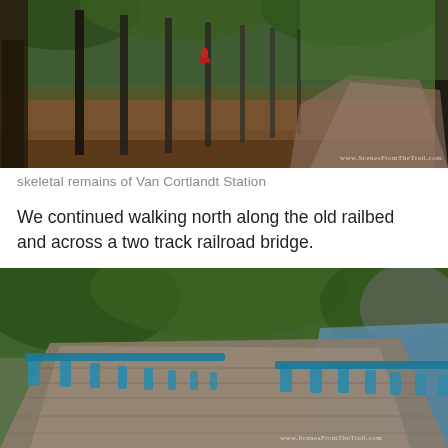[Figure (photo): Outdoor photo showing skeletal remains of Van Cortlandt Station — vertical steel/wooden columns along a trail, brown leaf-covered ground, trees in background, red fire hydrant visible, path visible on right. Watermark: www.ScenesFromTheTrail.com]
skeletal remains of Van Cortlandt Station
We continued walking north along the old railbed and across a two track railroad bridge.
[Figure (photo): Outdoor photo showing a two-track railroad bridge converted to a trail, with blue metal railings on both sides, green trees around, a river visible to the right. Watermark: www.ScenesFromTheTrail.com]